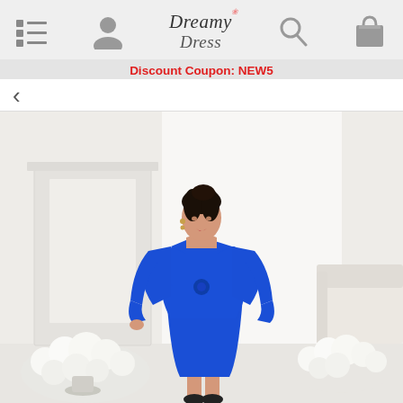Dreamy Dress - navigation header with menu, user, search, and cart icons
Discount Coupon: NEW5
[Figure (photo): Woman wearing a royal blue satin short dress with matching 3/4 sleeve bolero jacket and floral waist detail, standing in a white room decorated with white rose bouquets and white furniture]